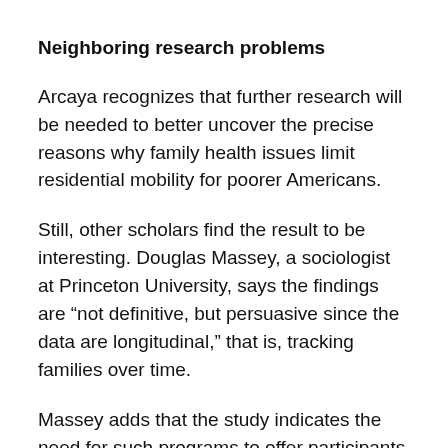Neighboring research problems
Arcaya recognizes that further research will be needed to better uncover the precise reasons why family health issues limit residential mobility for poorer Americans.
Still, other scholars find the result to be interesting. Douglas Massey, a sociologist at Princeton University, says the findings are “not definitive, but persuasive since the data are longitudinal,” that is, tracking families over time.
Massey adds that the study indicates the need for such programs to offer participants more active